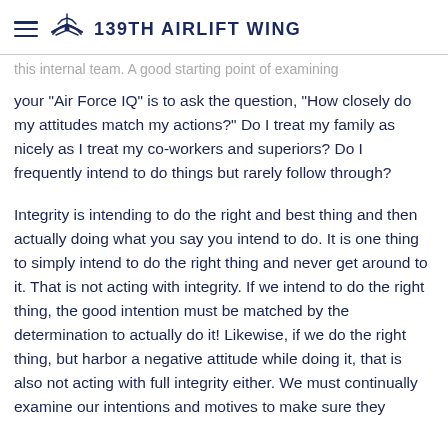139TH AIRLIFT WING
this internal team. A good starting point of examining your "Air Force IQ" is to ask the question, "How closely do my attitudes match my actions?" Do I treat my family as nicely as I treat my co-workers and superiors? Do I frequently intend to do things but rarely follow through?
Integrity is intending to do the right and best thing and then actually doing what you say you intend to do. It is one thing to simply intend to do the right thing and never get around to it. That is not acting with integrity. If we intend to do the right thing, the good intention must be matched by the determination to actually do it! Likewise, if we do the right thing, but harbor a negative attitude while doing it, that is also not acting with full integrity either. We must continually examine our intentions and motives to make sure they